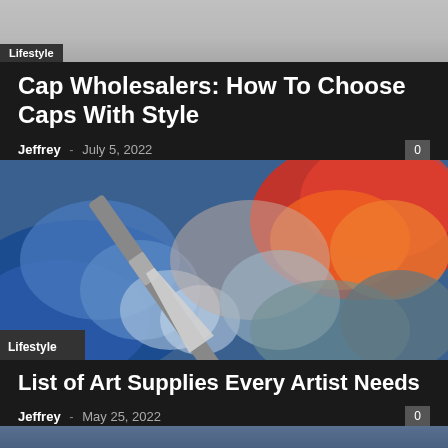[Figure (photo): Partial cap/hat product photo cropped at top]
Lifestyle
Cap Wholesalers: How To Choose Caps With Style
Jeffrey - July 5, 2022
[Figure (photo): Colorful painting palette with a paintbrush, blue red yellow swirled paint]
Lifestyle
List of Art Supplies Every Artist Needs
Jeffrey - May 25, 2022